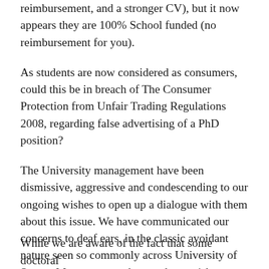reimbursement, and a stronger CV), but it now appears they are 100% School funded (no reimbursement for you).
As students are now considered as consumers, could this be in breach of The Consumer Protection from Unfair Trading Regulations 2008, regarding false advertising of a PhD position?
The University management have been dismissive, aggressive and condescending to our ongoing wishes to open up a dialogue with them about this issue. We have communicated our concerns to deaf ears, in the classic avoidant nature seen so commonly across University of Sussex Management when students wish to raise concerns which regard university spending.
While we are aware of the fact that some doctoral students...